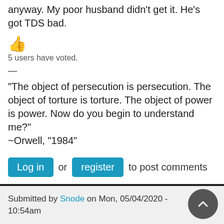he's bound to be rehabilitated down the road anyway. My poor husband didn't get it. He's got TDS bad.
[Figure (illustration): Thumbs up emoji]
5 users have voted.
—
"The object of persecution is persecution. The object of torture is torture. The object of power is power. Now do you begin to understand me?" ~Orwell, "1984"
Log in or register to post comments
Submitted by Snode on Mon, 05/04/2020 - 10:54am